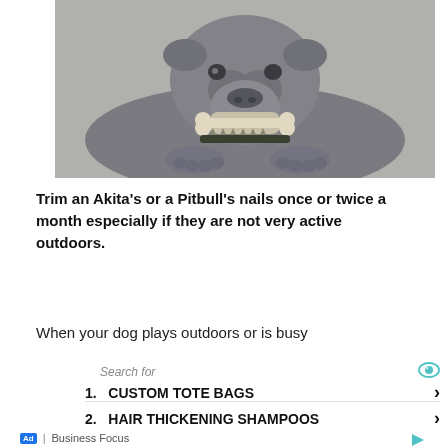[Figure (photo): A gray Pitbull dog lying on the floor chewing on a bone, wearing a spiked collar, looking at the camera]
Trim an Akita's or a Pitbull's nails once or twice a month especially if they are not very active outdoors.
When your dog plays outdoors or is busy
Search for
1.  CUSTOM TOTE BAGS  ›
2.  HAIR THICKENING SHAMPOOS  ›
Ad | Business Focus